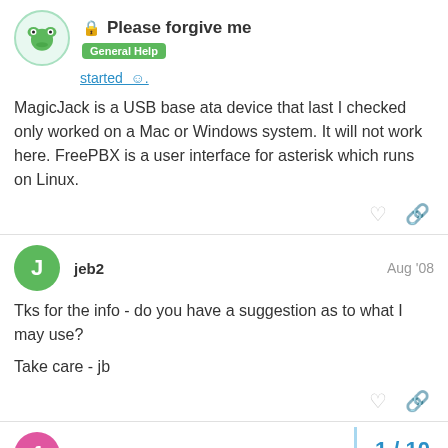Please forgive me — General Help
started
MagicJack is a USB base ata device that last I checked only worked on a Mac or Windows system. It will not work here. FreePBX is a user interface for asterisk which runs on Linux.
jeb2  Aug '08
Tks for the info - do you have a suggestion as to what I may use?

Take care - jb
1 / 10
fskrotzki